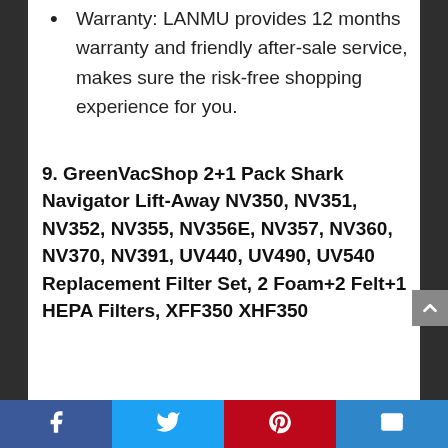Warranty: LANMU provides 12 months warranty and friendly after-sale service, makes sure the risk-free shopping experience for you.
9. GreenVacShop 2+1 Pack Shark Navigator Lift-Away NV350, NV351, NV352, NV355, NV356E, NV357, NV360, NV370, NV391, UV440, UV490, UV540 Replacement Filter Set, 2 Foam+2 Felt+1 HEPA Filters, XFF350 XHF350